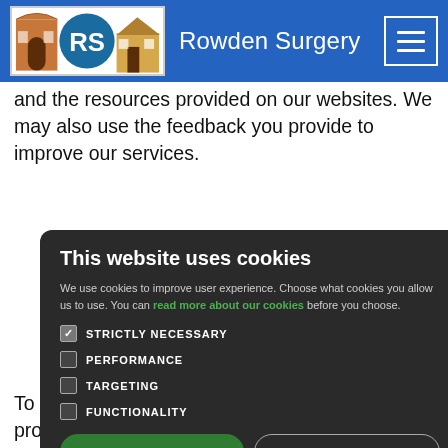Rowden Surgery
and the resources provided on our websites. We may also use the feedback you provide to improve our services.
This website uses cookies

We use cookies to improve user experience. Choose what cookies you allow us to use. You can read more about our cookies before you choose.

STRICTLY NECESSARY
PERFORMANCE
TARGETING
FUNCTIONALITY

ACCEPT ALL   DECLINE ALL
To provide certain services we may have to process,